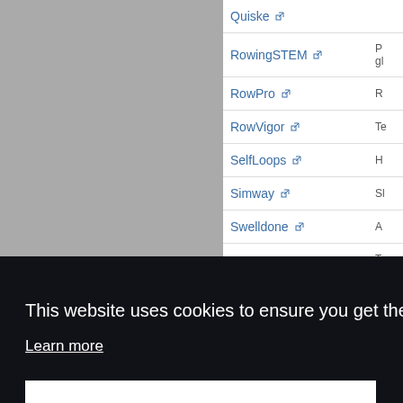| Name | Description |
| --- | --- |
| Quiske ↗ |  |
| RowingSTEM ↗ | P... gl... |
| RowPro ↗ | R... |
| RowVigor ↗ | T... |
| SelfLoops ↗ | H... |
| Simway ↗ | Sl... |
| Swelldone ↗ | A... |
|  | Tr... |
|  | R... |
|  | C... |
|  | C... |
|  | R... o... |
This website uses cookies to ensure you get the best experience on our website.
Learn more
Got it!